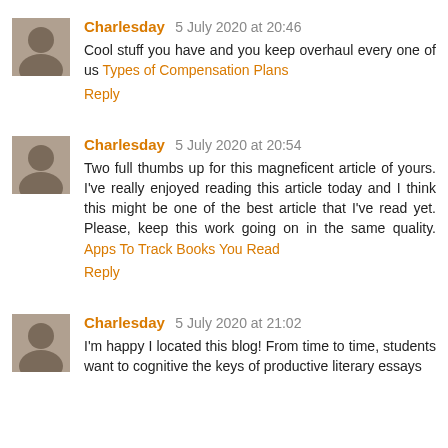Charlesday 5 July 2020 at 20:46
Cool stuff you have and you keep overhaul every one of us
Types of Compensation Plans
Reply
Charlesday 5 July 2020 at 20:54
Two full thumbs up for this magneficent article of yours. I've really enjoyed reading this article today and I think this might be one of the best article that I've read yet. Please, keep this work going on in the same quality. Apps To Track Books You Read
Reply
Charlesday 5 July 2020 at 21:02
I'm happy I located this blog! From time to time, students want to cognitive the keys of productive literary essays